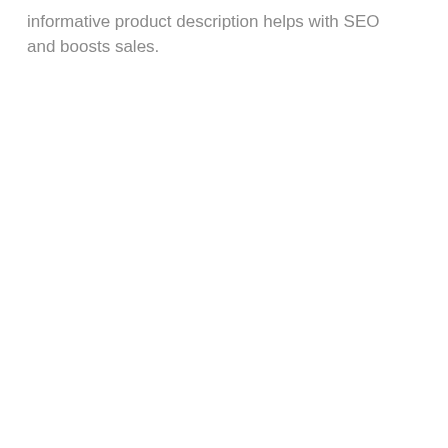informative product description helps with SEO and boosts sales.